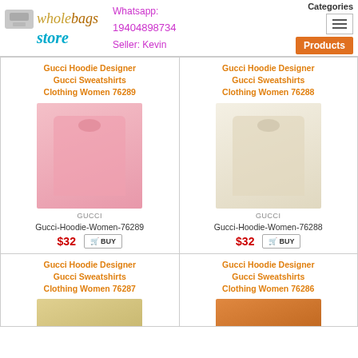Wholebags Store — Whatsapp: 19404898734 Seller: Kevin — Categories | Products
Gucci Hoodie Designer Gucci Sweatshirts Clothing Women 76289
[Figure (photo): Pink Gucci hoodie sweatshirt product photo]
Gucci-Hoodie-Women-76289 $32
Gucci Hoodie Designer Gucci Sweatshirts Clothing Women 76288
[Figure (photo): Cream/white Gucci hoodie sweatshirt product photo]
Gucci-Hoodie-Women-76288 $32
Gucci Hoodie Designer Gucci Sweatshirts Clothing Women 76287
[Figure (photo): Tan/beige Gucci hoodie sweatshirt product photo (partially visible)]
Gucci Hoodie Designer Gucci Sweatshirts Clothing Women 76286
[Figure (photo): Orange/brown Gucci hoodie sweatshirt product photo (partially visible)]